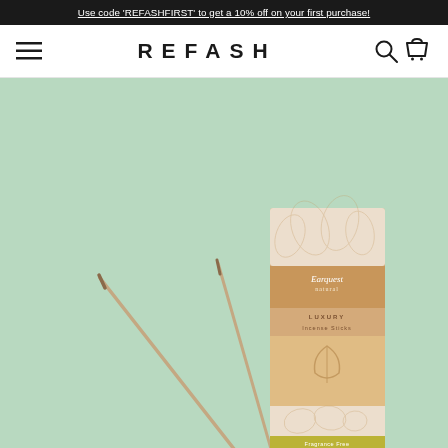Use code 'REFASHFIRST' to get a 10% off on your first purchase!
REFASH
[Figure (photo): Product photo of luxury incense sticks with packaging box on a mint green background. The box is beige/tan colored with leaf patterns and text reading 'Earquest LUXURY Incense Sticks'. Two incense sticks lean against the box.]